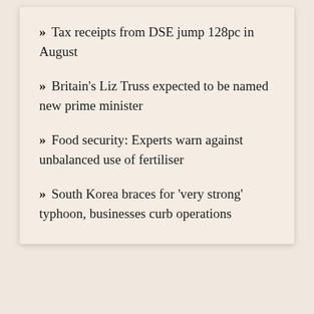» Tax receipts from DSE jump 128pc in August
» Britain's Liz Truss expected to be named new prime minister
» Food security: Experts warn against unbalanced use of fertiliser
» South Korea braces for 'very strong' typhoon, businesses curb operations